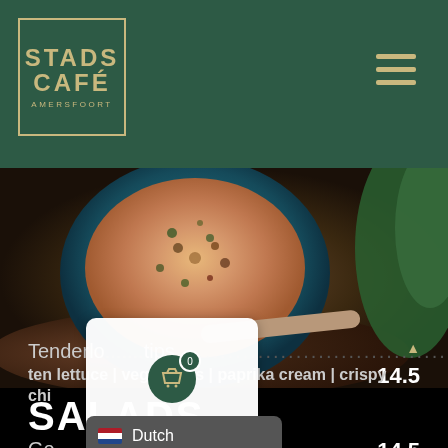[Figure (screenshot): Stads Café Amersfoort restaurant website screenshot showing header with logo, hero food photo of soup/stew in blue bowl on wooden board with spoon, and menu section for Salads]
SALADS
Tenderloin tips ....................... 14.5
tenderloin | lettuce | vegetables | paprika cream | crispy chi...
Go... 14.5